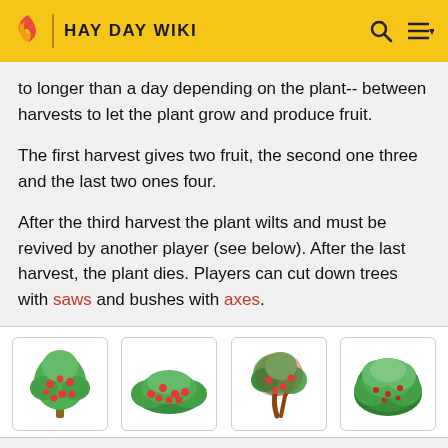HAY DAY WIKI
to longer than a day depending on the plant-- between harvests to let the plant grow and produce fruit.
The first harvest gives two fruit, the second one three and the last two ones four.
After the third harvest the plant wilts and must be revived by another player (see below). After the last harvest, the plant dies. Players can cut down trees with saws and bushes with axes.
[Figure (illustration): Four game images showing fruit trees and bushes from the Hay Day game: a tall apple tree, a low sprawling bush with red fruits, a gnarled reddish tree, and a large round green bush.]